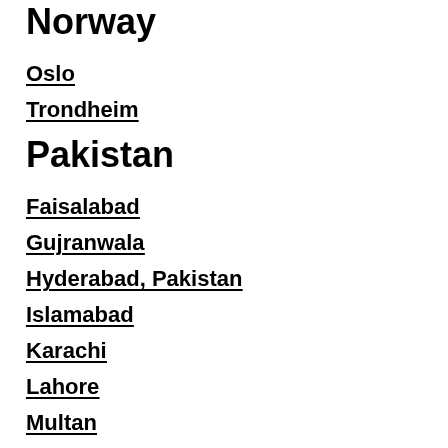Norway
Oslo
Trondheim
Pakistan
Faisalabad
Gujranwala
Hyderabad, Pakistan
Islamabad
Karachi
Lahore
Multan
Rawal...